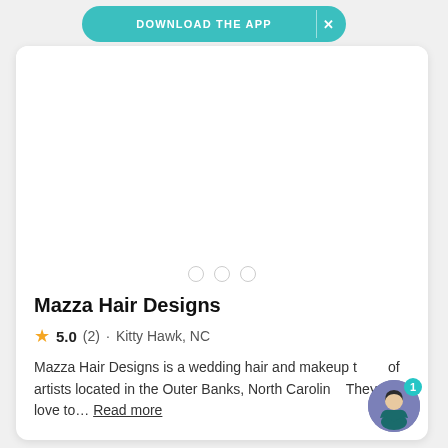[Figure (screenshot): Download the App banner button in teal/turquoise with white text and X close button]
[Figure (other): White image area with three circular pagination dots below]
Mazza Hair Designs
5.0 (2) · Kitty Hawk, NC
Mazza Hair Designs is a wedding hair and makeup team of artists located in the Outer Banks, North Carolina. They love to... Read more